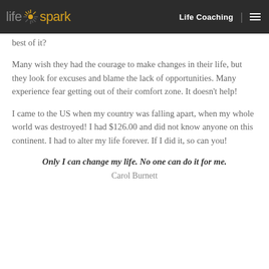lifespark | Life Coaching
best of it?
Many wish they had the courage to make changes in their life, but they look for excuses and blame the lack of opportunities. Many experience fear getting out of their comfort zone. It doesn't help!
I came to the US when my country was falling apart, when my whole world was destroyed! I had $126.00 and did not know anyone on this continent. I had to alter my life forever. If I did it, so can you!
Only I can change my life. No one can do it for me.
Carol Burnett